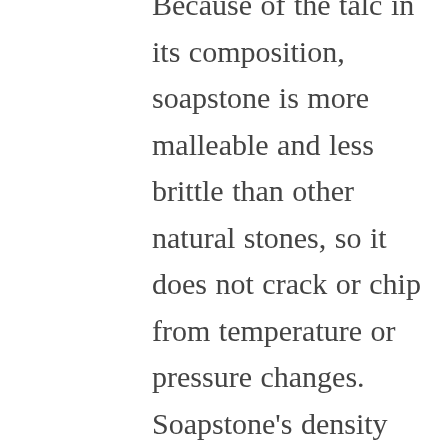Because of the talc in its composition, soapstone is more malleable and less brittle than other natural stones, so it does not crack or chip from temperature or pressure changes. Soapstone's density ensures countertops hold up well in high-use kitchen and bathroom areas. If you do encounter a scratch or nick, a light sanding followed by mineral oil or wax treatment can hide the mark with little effort. This easy care routine means soapstone is an excellent choice for commercial uses, as well.